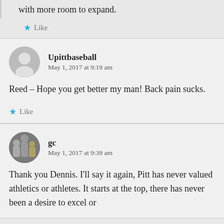with more room to expand.
★ Like
Upittbaseball
May 1, 2017 at 9:19 am
Reed – Hope you get better my man! Back pain sucks.
★ Like
gc
May 1, 2017 at 9:39 am
Thank you Dennis. I'll say it again, Pitt has never valued athletics or athletes. It starts at the top, there has never been a desire to excel or